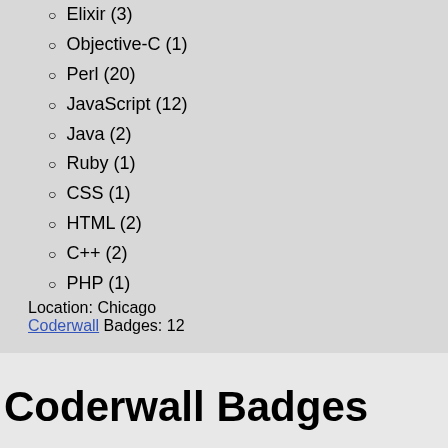Elixir (3)
Objective-C (1)
Perl (20)
JavaScript (12)
Java (2)
Ruby (1)
CSS (1)
HTML (2)
C++ (2)
PHP (1)
Location: Chicago
Coderwall Badges: 12
Coderwall Badges